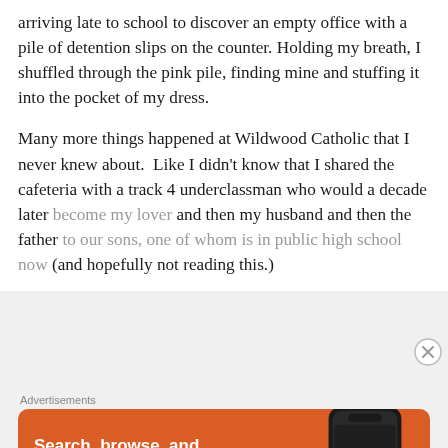arriving late to school to discover an empty office with a pile of detention slips on the counter. Holding my breath, I shuffled through the pink pile, finding mine and stuffing it into the pocket of my dress.
Many more things happened at Wildwood Catholic that I never knew about. Like I didn't know that I shared the cafeteria with a track 4 underclassman who would a decade later become my lover and then my husband and then the father to our sons, one of whom is in public high school now (and hopefully not reading this.)
[Figure (other): DuckDuckGo advertisement banner with orange background. Text reads: 'Search, browse, and email with more privacy. All in One Free App'. Shows a smartphone with DuckDuckGo logo and brand name.]